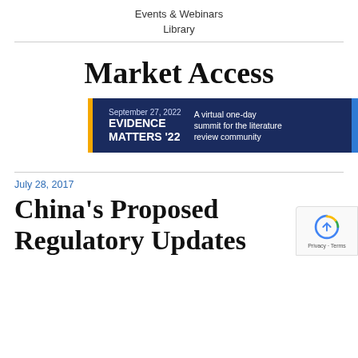Events & Webinars
Library
Market Access
[Figure (screenshot): Banner advertisement for Evidence Matters '22 conference on September 27, 2022 - a virtual one-day summit for the literature review community]
July 28, 2017
China’s Proposed Regulatory Updates